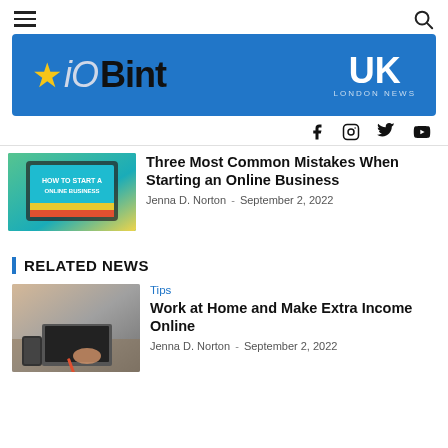iOBint UK London News — navigation header with hamburger menu and search icon
[Figure (logo): iOBint UK London News logo banner — blue background, star icon, iOBint text, UK LONDON NEWS text on right]
[Figure (other): Social media icons: Facebook, Instagram, Twitter, YouTube]
[Figure (photo): Article thumbnail: tablet showing 'HOW TO START AN ONLINE BUSINESS' text on colorful background]
Three Most Common Mistakes When Starting an Online Business
Jenna D. Norton - September 2, 2022
RELATED NEWS
Tips
[Figure (photo): Article thumbnail: person working at home with laptop, phone on desk]
Work at Home and Make Extra Income Online
Jenna D. Norton - September 2, 2022